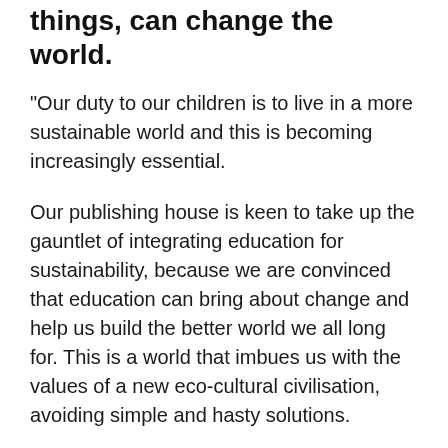things, can change the world.
"Our duty to our children is to live in a more sustainable world and this is becoming increasingly essential.
Our publishing house is keen to take up the gauntlet of integrating education for sustainability, because we are convinced that education can bring about change and help us build the better world we all long for. This is a world that imbues us with the values of a new eco-cultural civilisation, avoiding simple and hasty solutions.
It is urgent that we explore new ways of